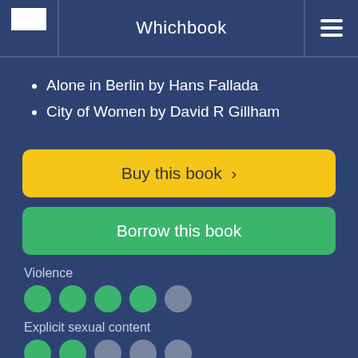Whichbook
Alone in Berlin by Hans Fallada
City of Women by David R Gillham
Buy this book ›
Borrow this book
Violence
[Figure (infographic): Violence rating: 4 out of 5 filled green dots]
Explicit sexual content
[Figure (infographic): Explicit sexual content rating: 2 out of 5 filled green dots]